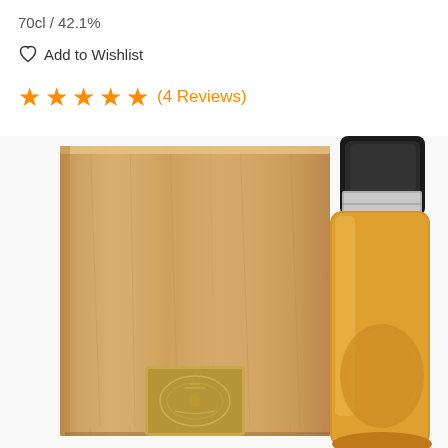70cl / 42.1%
Add to Wishlist
★★★★★ (4 Reviews)
[Figure (photo): A whisky bottle with an amber/golden liquid and black wax cap, displayed next to a wooden presentation box with a brass embossed plaque on the front.]